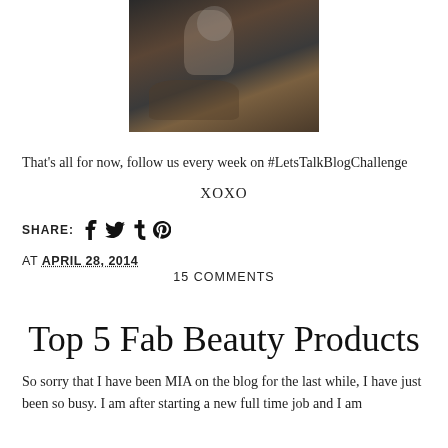[Figure (photo): A photo showing a person crouching or sitting near a dog on a wooden/tiled floor, mostly dark tones.]
That's all for now, follow us every week on #LetsTalkBlogChallenge
XOXO
SHARE: [facebook] [twitter] [tumblr] [pinterest]
AT APRIL 28, 2014
15 COMMENTS
Top 5 Fab Beauty Products
So sorry that I have been MIA on the blog for the last while, I have just been so busy. I am after starting a new full time job and I am